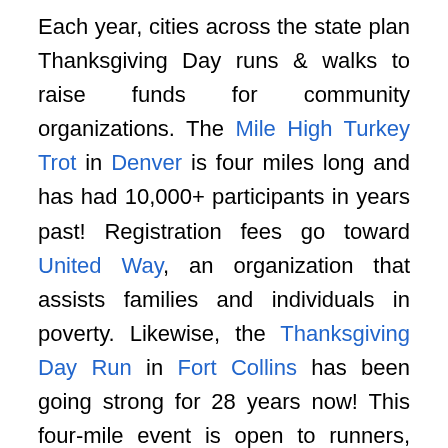Each year, cities across the state plan Thanksgiving Day runs & walks to raise funds for community organizations. The Mile High Turkey Trot in Denver is four miles long and has had 10,000+ participants in years past! Registration fees go toward United Way, an organization that assists families and individuals in poverty. Likewise, the Thanksgiving Day Run in Fort Collins has been going strong for 28 years now! This four-mile event is open to runners, walkers and kids in support of RamStrength, a local organization that supports cancer survivors. Lace up your shoes and start your